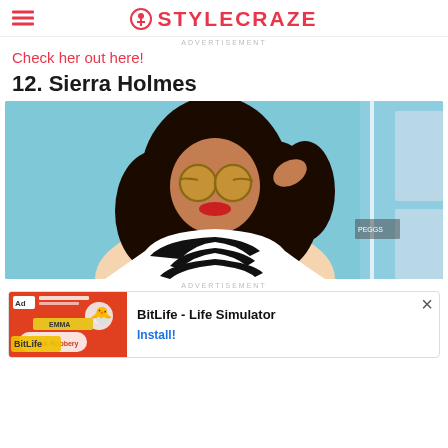STYLECRAZE
ADVERTISEMENT
Check her out here!
12. Sierra Holmes
[Figure (photo): A woman with long curly black hair wearing round mirrored sunglasses and a black and white striped wrap top, smiling and posing against a bright blue painted brick wall background. She is touching her hair with one hand.]
ADVERTISEMENT
[Figure (screenshot): An advertisement banner for BitLife - Life Simulator mobile game, showing an orange/red ad image on the left with a sperm emoji mascot and the BitLife logo, and text 'BitLife - Life Simulator' with an 'Install!' button on the right.]